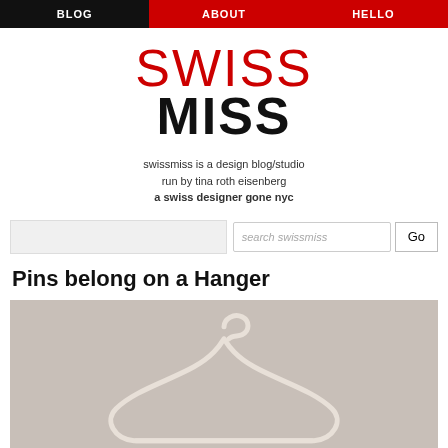BLOG | ABOUT | HELLO
SWISS MISS
swissmiss is a design blog/studio run by tina roth eisenberg a swiss designer gone nyc
search swissmiss  Go
Pins belong on a Hanger
[Figure (photo): A white hanger on a light grey/beige wall, viewed from the front, photographed minimally]